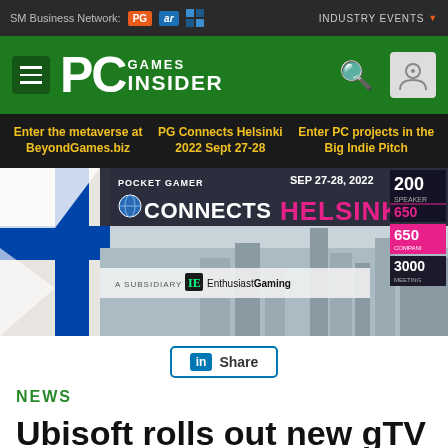SM Business Network: PG | INDUSTRY EVENTS
[Figure (logo): PC Games Insider logo on green header bar with hamburger menu, search icon, and user icon]
Enter the metaverse at BeyondGames.biz | PG Connects Helsinki 2022 Sept 27-28 | Enter PC projects in the Big Indie Pitch
[Figure (photo): Pocket Gamer Connects Helsinki banner advertisement: SEP 27-28, 2022. A subsidiary of Enthusiast Gaming. 200 speakers, 650 companies, 3000 meetings.]
Share
NEWS
Ubisoft rolls out new gTV "content channel" in the UK